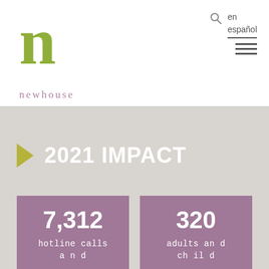newhouse
2021 IMPACT
7,312 hotline calls
320 adults and children